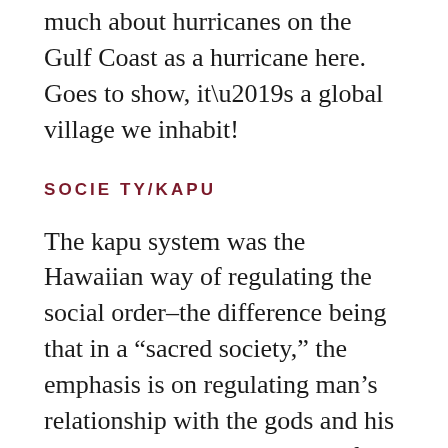much about hurricanes on the Gulf Coast as a hurricane here. Goes to show, it’s a global village we inhabit!
SOCIETY/KAPU
The kapu system was the Hawaiian way of regulating the social order–the difference being that in a “sacred society,” the emphasis is on regulating man’s relationship with the gods and his environment, while a “scientific society” emphasizes the